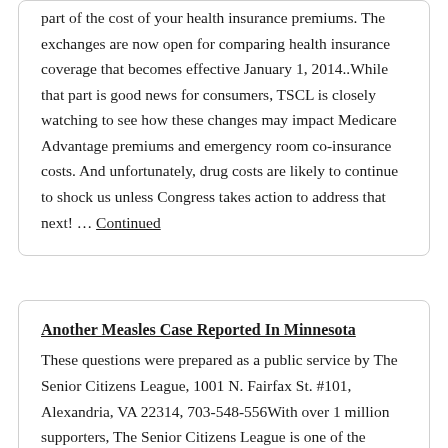part of the cost of your health insurance premiums. The exchanges are now open for comparing health insurance coverage that becomes effective January 1, 2014..While that part is good news for consumers, TSCL is closely watching to see how these changes may impact Medicare Advantage premiums and emergency room co-insurance costs. And unfortunately, drug costs are likely to continue to shock us unless Congress takes action to address that next! … Continued
Another Measles Case Reported In Minnesota
These questions were prepared as a public service by The Senior Citizens League, 1001 N. Fairfax St. #101, Alexandria, VA 22314, 703-548-556With over 1 million supporters, The Senior Citizens League is one of the nation's largest nonpartisan seniors groups. TSCL consists of vocally active senior citizens concerned about the protection of their Social Security, Medicare and veteran or military retiree benefits..About one